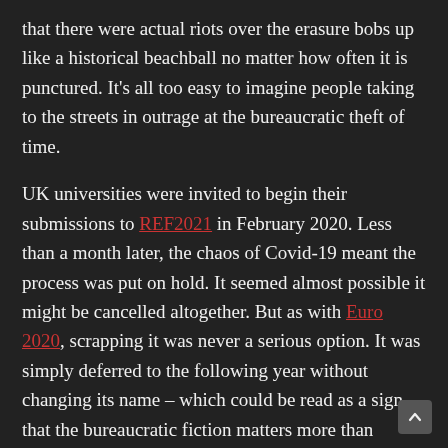that there were actual riots over the erasure bobs up like a historical beachball no matter how often it is punctured. It's all too easy to imagine people taking to the streets in outrage at the bureaucratic theft of time.
UK universities were invited to begin their submissions to REF2021 in February 2020. Less than a month later, the chaos of Covid-19 meant the process was put on hold. It seemed almost possible it might be cancelled altogether. But as with Euro 2020, scrapping it was never a serious option. It was simply deferred to the following year without changing its name – which could be read as a sign that the bureaucratic fiction matters more than reality.
The universities touting their 'world leading' credentials don't mention that huge cuts to the main pension scheme for UK universities came into effect last month. Or that pay